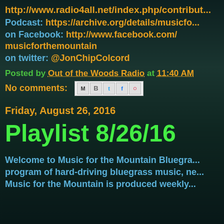http://www.radio4all.net/index.php/contribut...
Podcast: https://archive.org/details/musicfo...
on Facebook: http://www.facebook.com/ musicforthemountain
on twitter: @JonChipColcord
Posted by Out of the Woods Radio at 11:40 AM
No comments:
Friday, August 26, 2016
Playlist 8/26/16
Welcome to Music for the Mountain Bluegra... program of hard-driving bluegrass music, ne... Music for the Mountain is produced weekly...